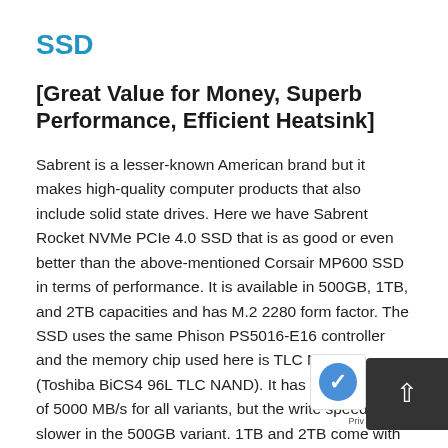SSD
[Great Value for Money, Superb Performance, Efficient Heatsink]
Sabrent is a lesser-known American brand but it makes high-quality computer products that also include solid state drives. Here we have Sabrent Rocket NVMe PCIe 4.0 SSD that is as good or even better than the above-mentioned Corsair MP600 SSD in terms of performance. It is available in 500GB, 1TB, and 2TB capacities and has M.2 2280 form factor. The SSD uses the same Phison PS5016-E16 controller and the memory chip used here is TLC NAND (Toshiba BiCS4 96L TLC NAND). It has a read speed of 5000 MB/s for all variants, but the write speed is slower in the 500GB variant. 1TB and 2TB come with DDR4 cache and can reach a write speed of up to 4400 MB/s, while the 500GB version